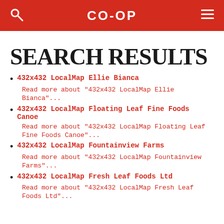CO-OP
SEARCH RESULTS
432x432 LocalMap Ellie Bianca
Read more about "432x432 LocalMap Ellie Bianca"...
432x432 LocalMap Floating Leaf Fine Foods Canoe
Read more about "432x432 LocalMap Floating Leaf Fine Foods Canoe"...
432x432 LocalMap Fountainview Farms
Read more about "432x432 LocalMap Fountainview Farms"...
432x432 LocalMap Fresh Leaf Foods Ltd
Read more about "432x432 LocalMap Fresh Leaf Foods Ltd"...